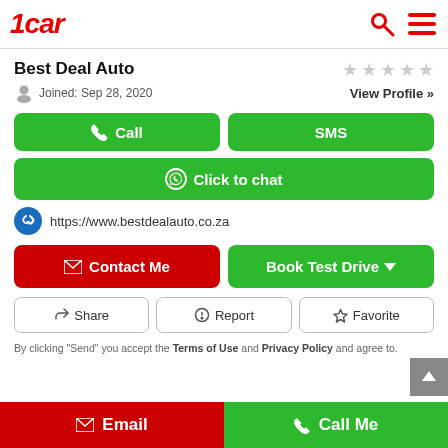1car
Best Deal Auto
Joined: Sep 28, 2020
View Profile »
Call
SMS
Click to chat
https://www.bestdealauto.co.za
Contact Me
Book Test Drive
Share
Report
Favorite
By clicking "Send" you accept the Terms of Use and Privacy Policy and agree to.
Email
Call Me